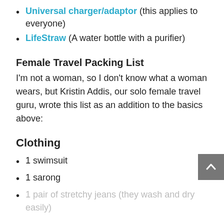Universal charger/adaptor (this applies to everyone)
LifeStraw (A water bottle with a purifier)
Female Travel Packing List
I'm not a woman, so I don't know what a woman wears, but Kristin Addis, our solo female travel guru, wrote this list as an addition to the basics above:
Clothing
1 swimsuit
1 sarong
1 pair of stretchy jeans (they wash and dry easily)